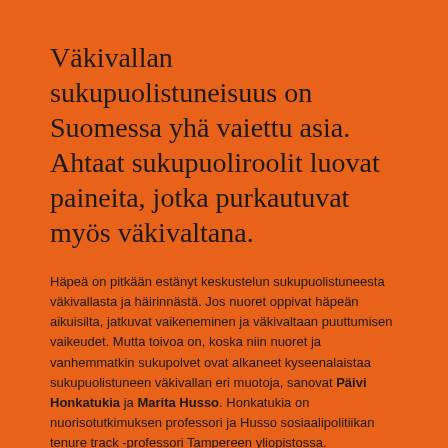Väkivallan sukupuolistuneisuus on Suomessa yhä vaiettu asia. Ahtaat sukupuoliroolit luovat paineita, jotka purkautuvat myös väkivaltana.
Häpeä on pitkään estänyt keskustelun sukupuolistuneesta väkivallasta ja häirinnästä. Jos nuoret oppivat häpeän aikuisilta, jatkuvat vaikeneminen ja väkivaltaan puuttumisen vaikeudet. Mutta toivoa on, koska niin nuoret ja vanhemmatkin sukupolvet ovat alkaneet kyseenalaistaa sukupuolistuneen väkivallan eri muotoja, sanovat Päivi Honkatukia ja Marita Husso. Honkatukia on nuorisotutkimuksen professori ja Husso sosiaalipolitiikan tenure track -professori Tampereen yliopistossa.
Päivi Honkatukia ja Marita Husso ovat tutkineet